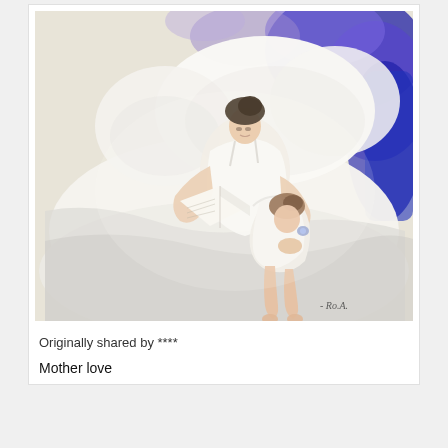[Figure (illustration): A realistic painting of a mother and young daughter sitting together on a white bed with pillows. The mother, with dark hair up, is in a white dress reading a book to the child. The background has bold blue and purple painterly brushstrokes. A signature is visible in the lower right corner of the painting.]
Originally shared by ****
Mother love